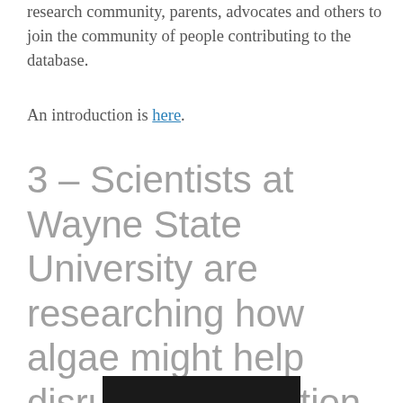research community, parents, advocates and others to join the community of people contributing to the database.
An introduction is here.
3 – Scientists at Wayne State University are researching how algae might help disrupt reproduction of zebra and quagga mussels in the Great Lakes.
[Figure (photo): Partial dark image visible at bottom of page]